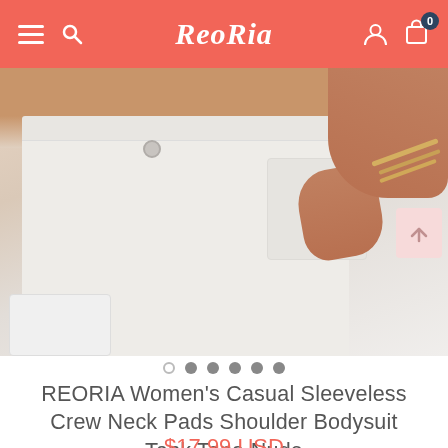ReoRia
[Figure (photo): Product photo showing the midsection of a woman wearing white wide-leg jeans with a button and front pocket, with her hand tucked into the pocket. She is wearing gold bracelets. A white handbag is partially visible at the bottom left.]
REORIA Women's Casual Sleeveless Crew Neck Pads Shoulder Bodysuit Tank Tops-Nude
$17.99 USD